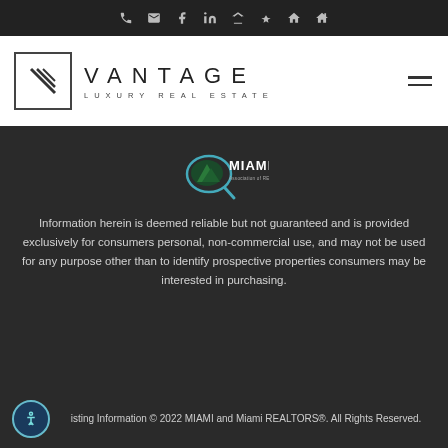Navigation icons: phone, email, facebook, linkedin, zillow, yelp, home
[Figure (logo): Vantage Luxury Real Estate logo with V icon in square and text]
[Figure (logo): MIAMI Association of REALTORS logo]
Information herein is deemed reliable but not guaranteed and is provided exclusively for consumers personal, non-commercial use, and may not be used for any purpose other than to identify prospective properties consumers may be interested in purchasing.
Listing Information © 2022 MIAMI and Miami REALTORS®. All Rights Reserved.